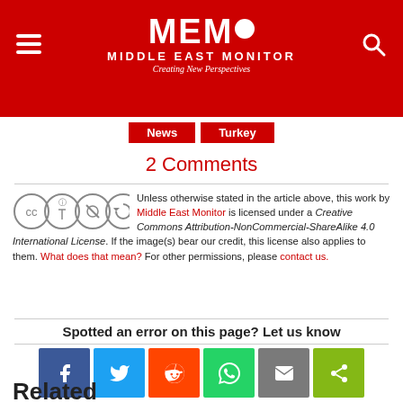[Figure (logo): MEMO Middle East Monitor logo on red background with hamburger menu and search icon]
News   Turkey
2 Comments
Unless otherwise stated in the article above, this work by Middle East Monitor is licensed under a Creative Commons Attribution-NonCommercial-ShareAlike 4.0 International License. If the image(s) bear our credit, this license also applies to them. What does that mean? For other permissions, please contact us.
Spotted an error on this page? Let us know
[Figure (infographic): Social share buttons: Facebook, Twitter, Reddit, WhatsApp, Email, ShareThis]
Related